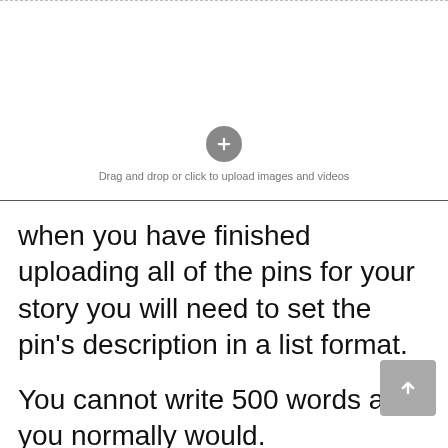[Figure (other): Upload area with dashed top border, circular upload button with plus icon, and label 'Drag and drop or click to upload images and videos']
when you have finished uploading all of the pins for your story you will need to set the pin's description in a list format.
You cannot write 500 words as you normally would.
make sure to still use keywords here in